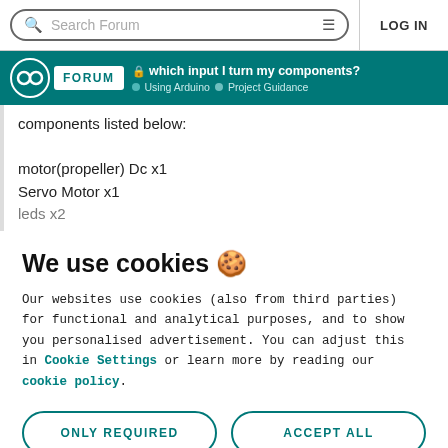Search Forum  LOG IN
FORUM — which input I turn my components? — Using Arduino › Project Guidance
components listed below:

motor(propeller) Dc x1
Servo Motor x1
leds x2
We use cookies 🍪
Our websites use cookies (also from third parties) for functional and analytical purposes, and to show you personalised advertisement. You can adjust this in Cookie Settings or learn more by reading our cookie policy.
ONLY REQUIRED   ACCEPT ALL